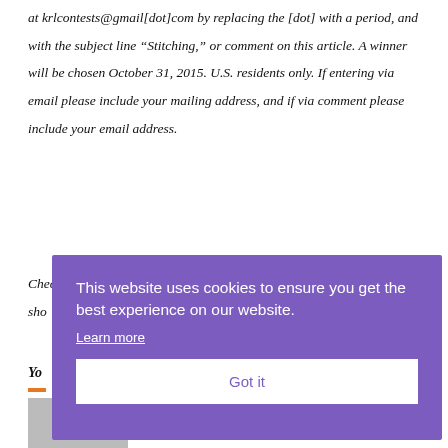at krlcontests@gmail[dot]com by replacing the [dot] with a period, and with the subject line "Stitching," or comment on this article. A winner will be chosen October 31, 2015. U.S. residents only. If entering via email please include your mailing address, and if via comment please include your email address.
Check out other mystery articles, reviews, book giveaways & sho...
You...
[Figure (screenshot): Cookie consent overlay popup with purple background. Text reads: 'This website uses cookies to ensure you get the best experience on our website.' with a 'Learn more' underlined link and a 'Got it' white button.]